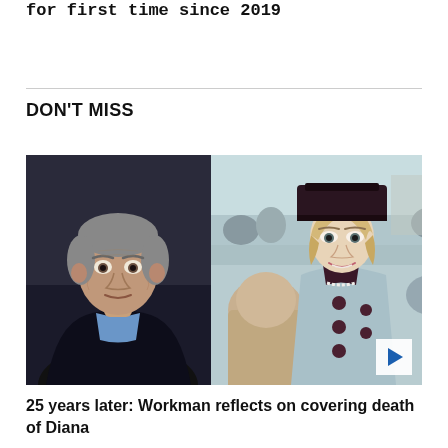for first time since 2019
DON'T MISS
[Figure (photo): Split image: left panel shows a middle-aged man with grey hair in a dark jacket and blue shirt against a dark background; right panel shows Princess Diana wearing a light blue jacket with dark buttons and a dark wide-brimmed hat, smiling at a public event with a crowd in the background. A play button icon is visible in the bottom right corner.]
25 years later: Workman reflects on covering death of Diana